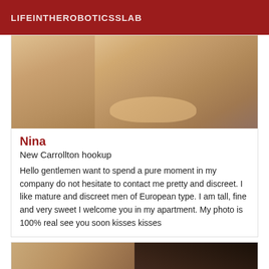LIFEINTHEROBOTICSSLAB
[Figure (photo): Partial photo showing person's legs/feet on a floor surface, warmly lit]
Nina
New Carrollton hookup
Hello gentlemen want to spend a pure moment in my company do not hesitate to contact me pretty and discreet. I like mature and discreet men of European type. I am tall, fine and very sweet I welcome you in my apartment. My photo is 100% real see you soon kisses kisses
[Figure (photo): Partial photo showing a person's torso and hand against a light background]